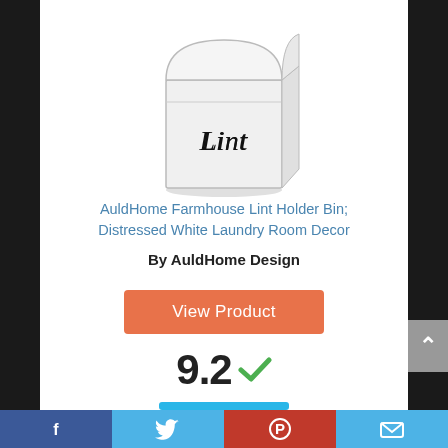[Figure (photo): Product photo of AuldHome Farmhouse Lint Holder Bin — white distressed metal box with 'Lint' in cursive script, shown at an angle]
AuldHome Farmhouse Lint Holder Bin; Distressed White Laundry Room Decor
By AuldHome Design
View Product
9.2
Facebook | Twitter | Pinterest | Email